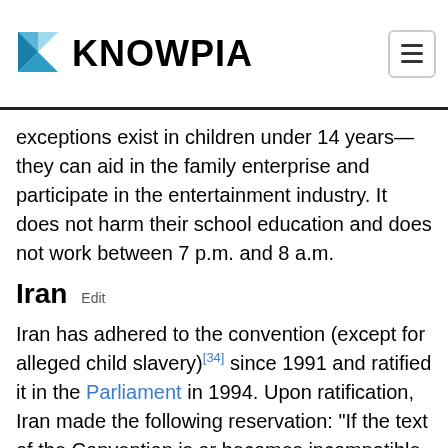KNOWPIA
exceptions exist in children under 14 years—they can aid in the family enterprise and participate in the entertainment industry. It does not harm their school education and does not work between 7 p.m. and 8 a.m.
Iran Edit
Iran has adhered to the convention (except for alleged child slavery)[34] since 1991 and ratified it in the Parliament in 1994. Upon ratification, Iran made the following reservation: "If the text of the Convention is or becomes incompatible with the domestic laws and Islamic standards at any time or in any case, the Government of the Islamic Republic shall not abide by it."[35] Iran has also signed both optional protocols